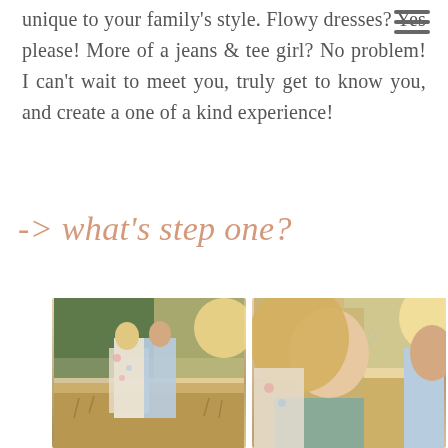unique to your family's style. Flowy dresses? Yes please! More of a jeans & tee girl? No problem! I can't wait to meet you, truly get to know you, and create a one of a kind experience!
-> what's step one?
[Figure (photo): Two side-by-side photos of a couple in a golden field with trees. Left photo shows full-body couple facing each other about to kiss, woman in floral kimono and man in light blue shirt. Right photo is a close-up of the couple, focusing on the woman's face and man's shoulder.]